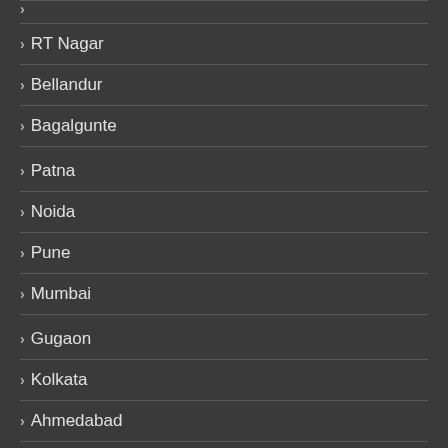RT Nagar
Bellandur
Bagalgunte
Patna
Noida
Pune
Mumbai
Gugaon
Kolkata
Ahmedabad
Jaipur